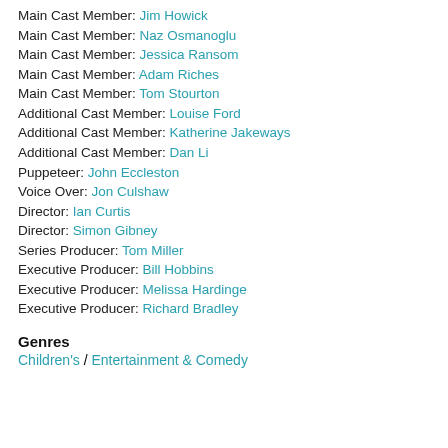Main Cast Member: Jim Howick
Main Cast Member: Naz Osmanoglu
Main Cast Member: Jessica Ransom
Main Cast Member: Adam Riches
Main Cast Member: Tom Stourton
Additional Cast Member: Louise Ford
Additional Cast Member: Katherine Jakeways
Additional Cast Member: Dan Li
Puppeteer: John Eccleston
Voice Over: Jon Culshaw
Director: Ian Curtis
Director: Simon Gibney
Series Producer: Tom Miller
Executive Producer: Bill Hobbins
Executive Producer: Melissa Hardinge
Executive Producer: Richard Bradley
Genres
Children's / Entertainment & Comedy